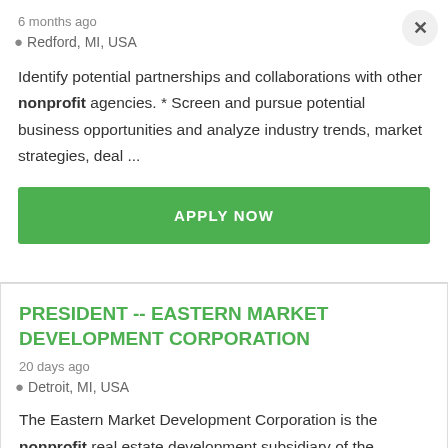6 months ago
Redford, MI, USA
Identify potential partnerships and collaborations with other nonprofit agencies. * Screen and pursue potential business opportunities and analyze industry trends, market strategies, deal ...
APPLY NOW
PRESIDENT -- EASTERN MARKET DEVELOPMENT CORPORATION
20 days ago
Detroit, MI, USA
The Eastern Market Development Corporation is the nonprofit real estate development subsidiary of the Eastern Market Partnership. It shares its